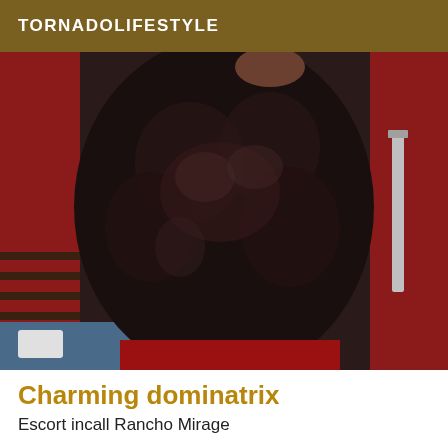TORNADOLIFESTYLE
[Figure (photo): Close-up photo of a person wearing black lace bodysuit/shorts, standing in front of red curtains with a blue surface visible at lower left.]
Charming dominatrix
Escort incall Rancho Mirage